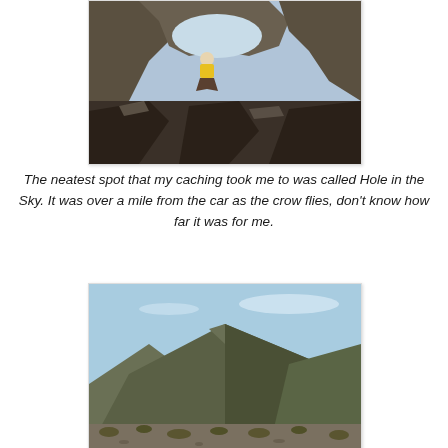[Figure (photo): A person in a yellow shirt sitting under a large natural rock arch formation, surrounded by dark volcanic rocks and boulders. Desert landscape visible in background.]
The neatest spot that my caching took me to was called Hole in the Sky.  It was over a mile from the car as the crow flies, don't know how far it was for me.
[Figure (photo): A desert mountain landscape with a large dark rocky hill/mountain under a blue sky with light clouds. Sparse desert scrub vegetation in the foreground.]